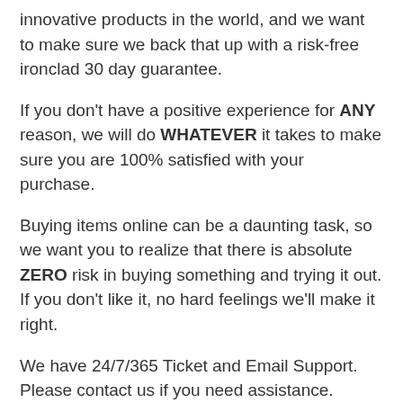innovative products in the world, and we want to make sure we back that up with a risk-free ironclad 30 day guarantee.
If you don't have a positive experience for ANY reason, we will do WHATEVER it takes to make sure you are 100% satisfied with your purchase.
Buying items online can be a daunting task, so we want you to realize that there is absolute ZERO risk in buying something and trying it out. If you don't like it, no hard feelings we'll make it right.
We have 24/7/365 Ticket and Email Support. Please contact us if you need assistance.
[Figure (illustration): Four grey badge icons: BEST PRICE with star, HASSLE FREE RETURN with tag, 100% SATISFACTION GUARANTEE with shield, SECURED CHECKOUT with padlock]